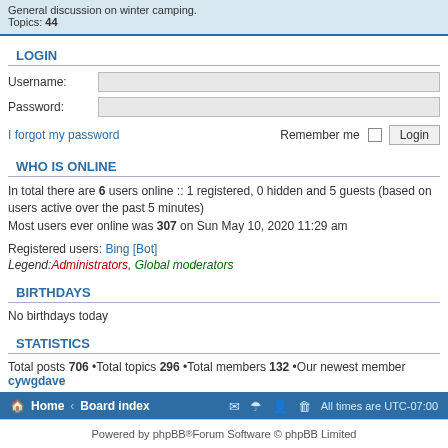General discussion on winter camping.
Topics: 44
LOGIN
Username:
Password:
I forgot my password   Remember me  Login
WHO IS ONLINE
In total there are 6 users online :: 1 registered, 0 hidden and 5 guests (based on users active over the past 5 minutes)
Most users ever online was 307 on Sun May 10, 2020 11:29 am
Registered users: Bing [Bot]
Legend: Administrators, Global moderators
BIRTHDAYS
No birthdays today
STATISTICS
Total posts 706 •Total topics 296 •Total members 132 •Our newest member cywgdave
Home · Board index   All times are UTC-07:00
Powered by phpBB® Forum Software © phpBB Limited